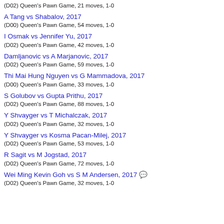(D02) Queen's Pawn Game, 21 moves, 1-0
A Tang vs Shabalov, 2017
(D00) Queen's Pawn Game, 54 moves, 1-0
I Osmak vs Jennifer Yu, 2017
(D02) Queen's Pawn Game, 42 moves, 1-0
Damljanovic vs A Marjanovic, 2017
(D02) Queen's Pawn Game, 59 moves, 1-0
Thi Mai Hung Nguyen vs G Mammadova, 2017
(D00) Queen's Pawn Game, 33 moves, 1-0
S Golubov vs Gupta Prithu, 2017
(D02) Queen's Pawn Game, 88 moves, 1-0
Y Shvayger vs T Michalczak, 2017
(D02) Queen's Pawn Game, 32 moves, 1-0
Y Shvayger vs Kosma Pacan-Milej, 2017
(D02) Queen's Pawn Game, 53 moves, 1-0
R Sagit vs M Jogstad, 2017
(D02) Queen's Pawn Game, 72 moves, 1-0
Wei Ming Kevin Goh vs S M Andersen, 2017
(D02) Queen's Pawn Game, 32 moves, 1-0